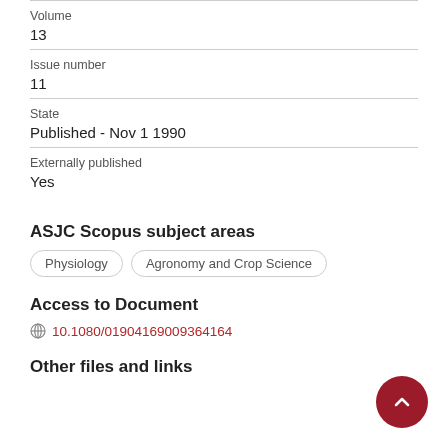Volume
13
Issue number
11
State
Published - Nov 1 1990
Externally published
Yes
ASJC Scopus subject areas
Physiology
Agronomy and Crop Science
Access to Document
10.1080/01904169009364164
Other files and links